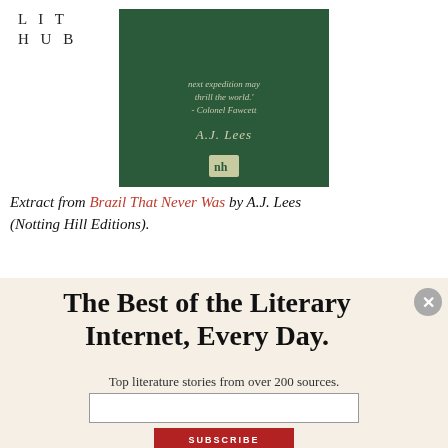LIT HUB
[Figure (photo): Book cover of 'Brazil That Never Was' by A.J. Lees (Notting Hill Editions). Dark green cover with italic quote 'next expedition may thrill the world.' - Colonel Fawcett, author name A.J. Lees, and publisher logo nh.]
Extract from Brazil That Never Was by A.J. Lees (Notting Hill Editions).
The Best of the Literary Internet, Every Day.
Top literature stories from over 200 sources.